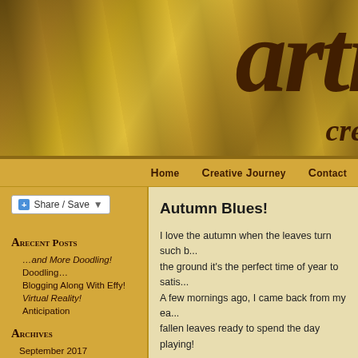[Figure (photo): Golden/amber textured background with large decorative brown italic text 'arti' and 'cre' visible as a website header logo]
Home   Creative Journey   Contact
[Figure (other): Share / Save button widget]
Recent Posts
…and More Doodling!
Doodling…
Blogging Along With Effy!
Virtual Reality!
Anticipation
Archives
September 2017
June 2016
May 2016
April 2016
March 2016
February 2016
January 2016
December 2015
Autumn Blues!
I love the autumn when the leaves turn such b... the ground it's the perfect time of year to satis... A few mornings ago, I came back from my ea... fallen leaves ready to spend the day playing!
[Figure (photo): Dark blue artistic photo with text overlay reading 'Celeb... end... for... pre... n...']